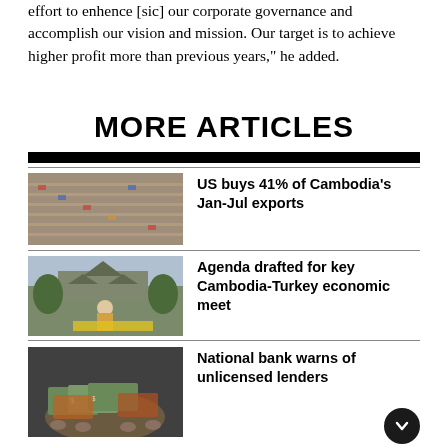effort to enhence [sic] our corporate governance and accomplish our vision and mission. Our target is to achieve higher profit more than previous years," he added.
MORE ARTICLES
US buys 41% of Cambodia's Jan-Jul exports
[Figure (photo): Aerial view of a garment factory floor with workers at sewing stations]
Agenda drafted for key Cambodia-Turkey economic meet
[Figure (photo): Person wearing mask standing in front of Angkor Wat temple with flowers]
National bank warns of unlicensed lenders
[Figure (photo): Hands holding US dollar bills and local currency]